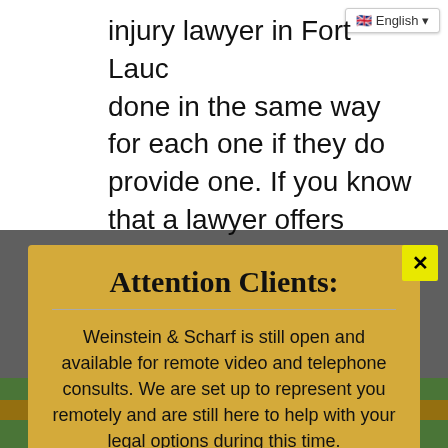injury lawyer in Fort Lauderdale done in the same way for each one if they do provide one. If you know that a lawyer offers a free consultation, you can visit their
Attention Clients:
Weinstein & Scharf is still open and available for remote video and telephone consults. We are set up to represent you remotely and are still here to help with your legal options during this time.